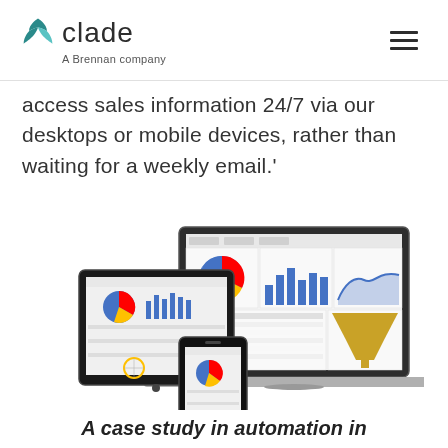clade — A Brennan company
access sales information 24/7 via our desktops or mobile devices, rather than waiting for a weekly email.'
[Figure (screenshot): Screenshot of a sales dashboard displayed on a laptop, tablet, and mobile phone showing pie charts, bar charts, and data tables.]
A case study in automation in